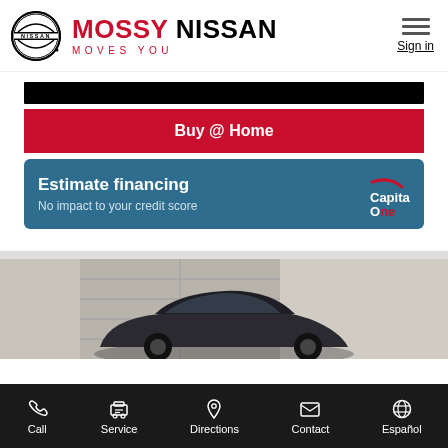[Figure (logo): Nissan logo (circular emblem) and Mossy Nissan branding with tagline MOVES YOU, plus hamburger menu and Sign in link]
[Figure (screenshot): Black bar (image placeholder), red Buy @ Home button, teal Estimate financing with Capital One logo banner]
[Figure (photo): Partial photo of a dark sedan car in a garage/showroom setting, cropped at bottom]
[Figure (infographic): Bottom navigation bar with icons and labels: Call, Service, Directions, Contact, Español]